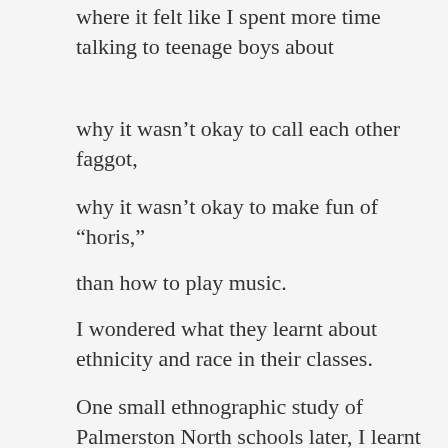where it felt like I spent more time talking to teenage boys about
why it wasn't okay to call each other faggot,
why it wasn't okay to make fun of “horis,”
than how to play music.
I wondered what they learnt about ethnicity and race in their classes.
One small ethnographic study of Palmerston North schools later, I learnt that
in one school,
the school I worked at,